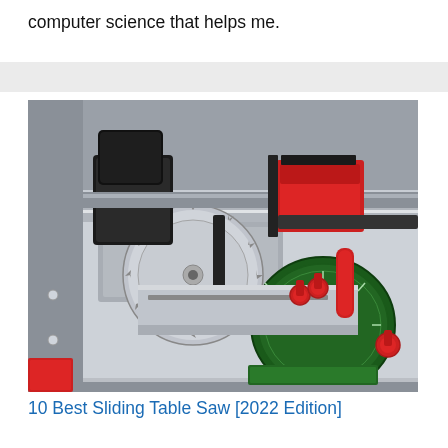computer science that helps me.
[Figure (photo): A sliding table saw with a circular blade visible, a dust hood, and a green/red angle adjustment mechanism with red knobs and handles on a silver aluminium table surface.]
10 Best Sliding Table Saw [2022 Edition]